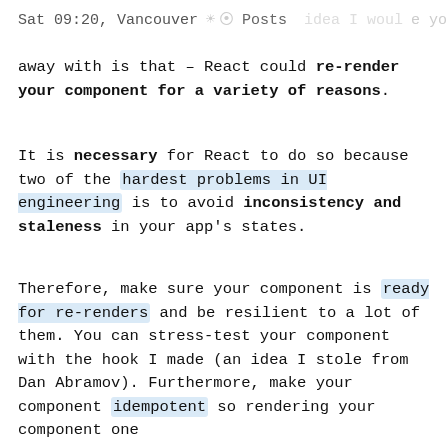Sat 09:20, Vancouver  Posts [icons]
away with is that – React could re-render your component for a variety of reasons.
It is necessary for React to do so because two of the hardest problems in UI engineering is to avoid inconsistency and staleness in your app's states.
Therefore, make sure your component is ready for re-renders and be resilient to a lot of them. You can stress-test your component with the hook I made (an idea I stole from Dan Abramov). Furthermore, make your component idempotent so rendering your component one time or multiple times should often...